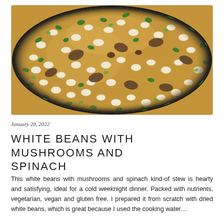[Figure (photo): Overhead close-up photo of white beans with mushrooms and spinach in a dark skillet, showing a hearty stew with visible white cannellini beans, sliced brown mushrooms, and chopped green spinach in a golden-brown broth.]
January 28, 2022
WHITE BEANS WITH MUSHROOMS AND SPINACH
This white beans with mushrooms and spinach kind-of stew is hearty and satisfying, ideal for a cold weeknight dinner. Packed with nutrients, vegetarian, vegan and gluten free. I prepared it from scratch with dried white beans, which is great because I used the cooking water...